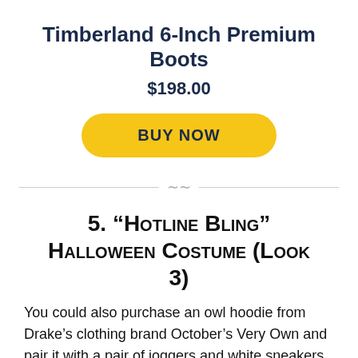Timberland 6-Inch Premium Boots
$198.00
[Figure (other): Yellow BUY NOW button]
[Figure (other): Decorative divider with wavy symbol]
5. “Hotline Bling” Halloween Costume (Look 3)
You could also purchase an owl hoodie from Drake’s clothing brand October’s Very Own and pair it with a pair of joggers and white sneakers to create the third look from the “Hotline Bling” video.